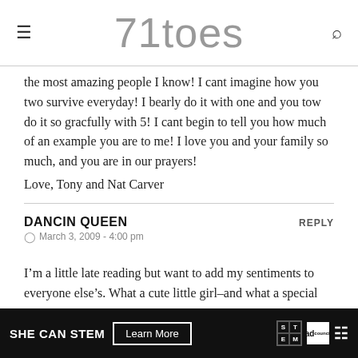71toes
the most amazing people I know! I cant imagine how you two survive everyday! I bearly do it with one and you tow do it so gracfully with 5! I cant begin to tell you how much of an example you are to me! I love you and your family so much, and you are in our prayers!
Love, Tony and Nat Carver
DANCIN QUEEN
March 3, 2009 - 4:00 pm
I’m a little late reading but want to add my sentiments to everyone else’s. What a cute little girl–and what a special mom yo... I s...
[Figure (screenshot): SHE CAN STEM advertisement banner at bottom of page with Learn More button, STEM and Ad Council logos]